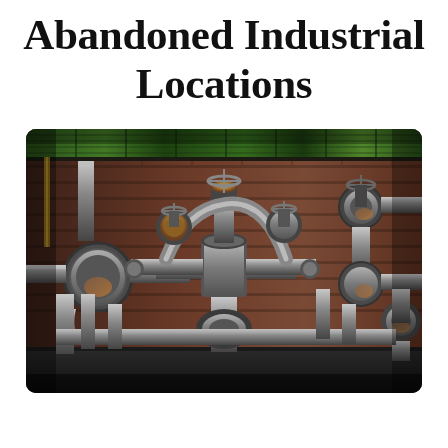Abandoned Industrial Locations
[Figure (photo): Photograph of abandoned industrial machinery — a complex arrangement of large metal pipes, valves, flanges, and mechanical equipment mounted against a weathered brick wall. The machinery is heavily rusted and deteriorated, with corroded metal surfaces in dark grey and brown tones. Green-painted corrugated panels are visible at the top of the wall. The scene depicts derelict industrial infrastructure.]